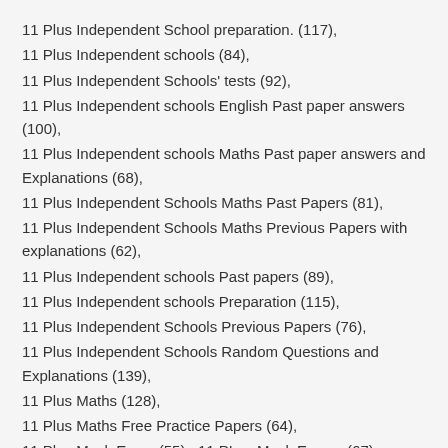11 Plus Independent School preparation. (117),
11 Plus Independent schools (84),
11 Plus Independent Schools' tests (92),
11 Plus Independent schools English Past paper answers (100),
11 Plus Independent schools Maths Past paper answers and Explanations (68),
11 Plus Independent Schools Maths Past Papers (81),
11 Plus Independent Schools Maths Previous Papers with explanations (62),
11 Plus Independent schools Past papers (89),
11 Plus Independent schools Preparation (115),
11 Plus Independent Schools Previous Papers (76),
11 Plus Independent Schools Random Questions and Explanations (139),
11 Plus Maths (128),
11 Plus Maths Free Practice Papers (64),
11 Plus Mock Exam (55),  11 PLus Mock Exams (67),
11+ Creative Writing (59),